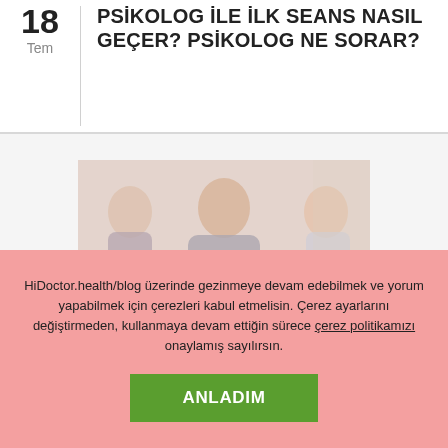18 Tem PSİKOLOG İLE İLK SEANS NASIL GEÇER? PSİKOLOG NE SORAR?
[Figure (photo): Group therapy session photo showing three people seated, a man in the center with hands clasped and two others on either side]
HiDoctor.health/blog üzerinde gezinmeye devam edebilmek ve yorum yapabilmek için çerezleri kabul etmelisin. Çerez ayarlarını değiştirmeden, kullanmaya devam ettiğin sürece çerez politikamızı onaylamış sayılırsın.
ANLADIM